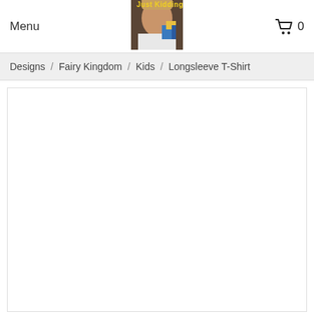Menu  [cart icon] 0
[Figure (photo): Just Kidding logo photo showing a person holding a colorful block, with yellow text 'Just Kidding' overlaid]
Designs  /  Fairy Kingdom  /  Kids  /  Longsleeve T-Shirt